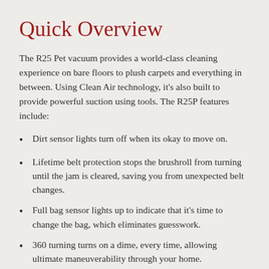Quick Overview
The R25 Pet vacuum provides a world-class cleaning experience on bare floors to plush carpets and everything in between. Using Clean Air technology, it's also built to provide powerful suction using tools. The R25P features include:
Dirt sensor lights turn off when its okay to move on.
Lifetime belt protection stops the brushroll from turning until the jam is cleared, saving you from unexpected belt changes.
Full bag sensor lights up to indicate that it's time to change the bag, which eliminates guesswork.
360 turning turns on a dime, every time, allowing ultimate maneuverability through your home.
HEPA media filtration and granulated charcoal filters